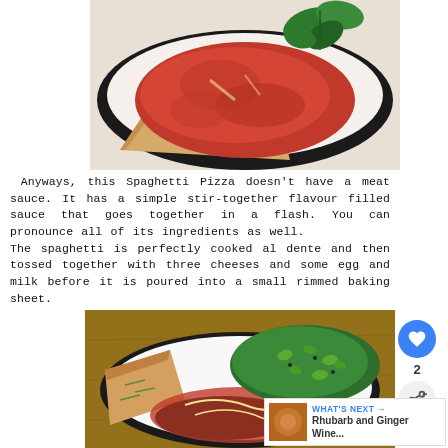[Figure (photo): Close-up of a pizza slice with tomato sauce and fresh basil on a white plate with black rim]
Anyways, this Spaghetti Pizza doesn't have a meat sauce. It has a simple stir-together flavour filled sauce that goes together in a flash. You can pronounce all of its ingredients as well.
The spaghetti is perfectly cooked al dente and then tossed together with three cheeses and some egg and milk before it is poured into a small rimmed baking sheet.
[Figure (photo): Plate with spaghetti pizza slice and green bean/edamame salad on a wooden surface]
WHAT'S NEXT → Rhubarb and Ginger Wine...